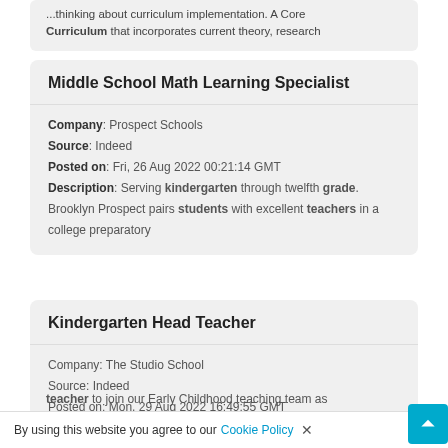...thinking about curriculum implementation. A Core Curriculum that incorporates current theory, research
Middle School Math Learning Specialist
Company: Prospect Schools
Source: Indeed
Posted on: Fri, 26 Aug 2022 00:21:14 GMT
Description: Serving kindergarten through twelfth grade. Brooklyn Prospect pairs students with excellent teachers in a college preparatory
Kindergarten Head Teacher
Company: The Studio School
Source: Indeed
Posted on: Mon, 29 Aug 2022 16:49:55 GMT
teacher to join our Early Childhood teaching team as
By using this website you agree to our Cookie Policy ×